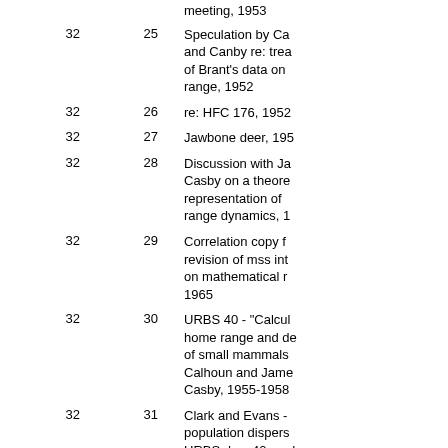| Box | Folder | Description |
| --- | --- | --- |
|  |  | meeting, 1953 |
| 32 | 25 | Speculation by Ca and Canby re: trea of Brant's data on range, 1952 |
| 32 | 26 | re: HFC 176, 1952 |
| 32 | 27 | Jawbone deer, 195 |
| 32 | 28 | Discussion with Ja Casby on a theore representation of range dynamics, 1 |
| 32 | 29 | Correlation copy f revision of mss int on mathematical r 1965 |
| 32 | 30 | URBS 40 - "Calcul home range and de of small mammals Calhoun and Jame Casby, 1955-1958 |
| 32 | 31 | Clark and Evans - population dispers URBS doc. 40, und |